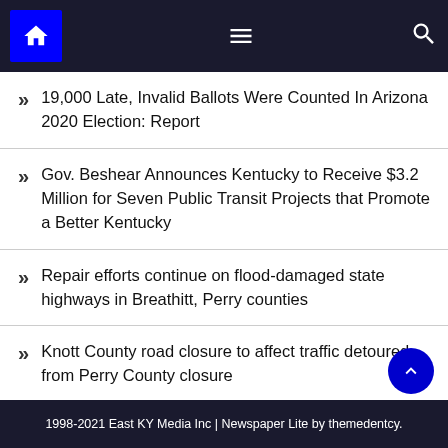Navigation bar with home, menu, and search icons
19,000 Late, Invalid Ballots Were Counted In Arizona 2020 Election: Report
Gov. Beshear Announces Kentucky to Receive $3.2 Million for Seven Public Transit Projects that Promote a Better Kentucky
Repair efforts continue on flood-damaged state highways in Breathitt, Perry counties
Knott County road closure to affect traffic detoured from Perry County closure
1998-2021 East KY Media Inc | Newspaper Lite by themedentcy.